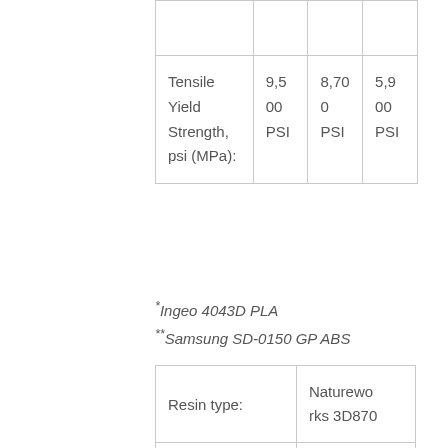|  |  |  |  |
| --- | --- | --- | --- |
|  |  |  |  |
| Tensile Yield Strength, psi (MPa): | 9,500 PSI | 8,700 PSI | 5,900 PSI |
*Ingeo 4043D PLA
**Samsung SD-0150 GP ABS
|  |  |
| --- | --- |
| Resin type: | Natureworks 3D870 |
| Spool size: | 1kg
(2.2lbs) |